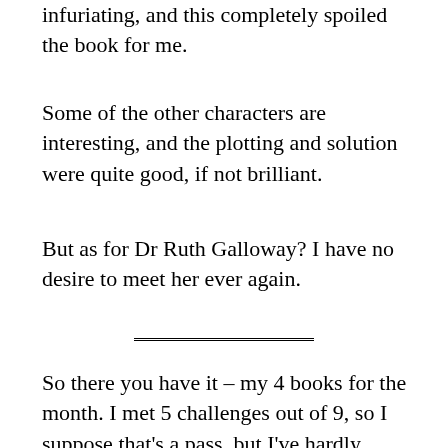infuriating, and this completely spoiled the book for me.
Some of the other characters are interesting, and the plotting and solution were quite good, if not brilliant.
But as for Dr Ruth Galloway? I have no desire to meet her ever again.
So there you have it – my 4 books for the month. I met 5 challenges out of 9, so I suppose that's a pass, but I've hardly covered myself in glory, have I?